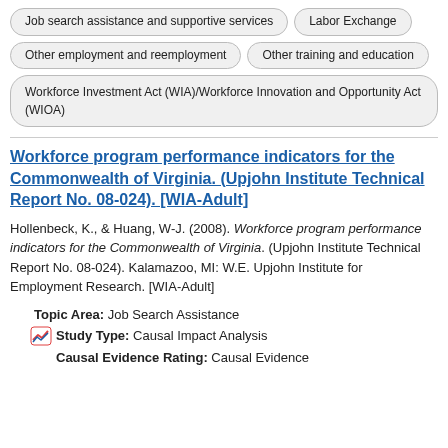Job search assistance and supportive services
Labor Exchange
Other employment and reemployment
Other training and education
Workforce Investment Act (WIA)/Workforce Innovation and Opportunity Act (WIOA)
Workforce program performance indicators for the Commonwealth of Virginia. (Upjohn Institute Technical Report No. 08-024). [WIA-Adult]
Hollenbeck, K., & Huang, W-J. (2008). Workforce program performance indicators for the Commonwealth of Virginia. (Upjohn Institute Technical Report No. 08-024). Kalamazoo, MI: W.E. Upjohn Institute for Employment Research. [WIA-Adult]
Topic Area: Job Search Assistance
Study Type: Causal Impact Analysis
Causal Evidence Rating: Causal Evidence